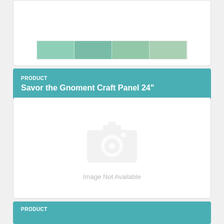[Figure (photo): Product image strip showing fabric panels with teal/green botanical pattern]
PRODUCT
Savor the Gnoment Craft Panel 24"
$8.99
[Figure (photo): Image Not Available placeholder with camera icon]
PRODUCT